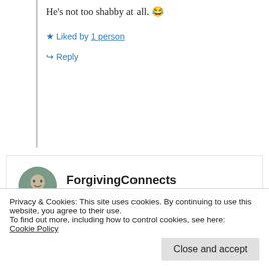He's not too shabby at all. 😂
★ Liked by 1 person
↪ Reply
ForgivingConnects
March 12, 2019 at 3:33 am
Rakkelle, it's so lovely to meet you! Thanks for liking my comment at
Privacy & Cookies: This site uses cookies. By continuing to use this website, you agree to their use.
To find out more, including how to control cookies, see here:
Cookie Policy
Close and accept